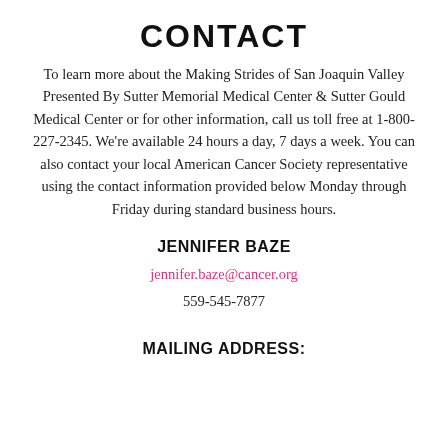CONTACT
To learn more about the Making Strides of San Joaquin Valley Presented By Sutter Memorial Medical Center & Sutter Gould Medical Center or for other information, call us toll free at 1-800-227-2345. We're available 24 hours a day, 7 days a week. You can also contact your local American Cancer Society representative using the contact information provided below Monday through Friday during standard business hours.
JENNIFER BAZE
jennifer.baze@cancer.org
559-545-7877
MAILING ADDRESS: